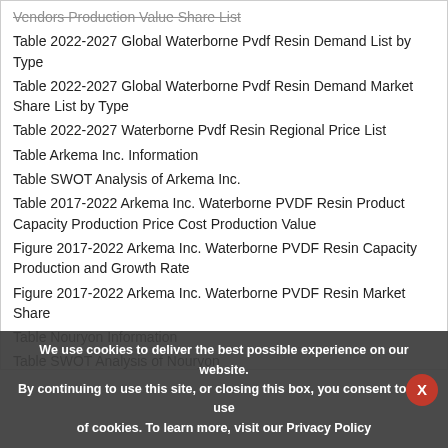Vendors Production Value Share List
Table 2022-2027 Global Waterborne Pvdf Resin Demand List by Type
Table 2022-2027 Global Waterborne Pvdf Resin Demand Market Share List by Type
Table 2022-2027 Waterborne Pvdf Resin Regional Price List
Table Arkema Inc. Information
Table SWOT Analysis of Arkema Inc.
Table 2017-2022 Arkema Inc. Waterborne PVDF Resin Product Capacity Production Price Cost Production Value
Figure 2017-2022 Arkema Inc. Waterborne PVDF Resin Capacity Production and Growth Rate
Figure 2017-2022 Arkema Inc. Waterborne PVDF Resin Market Share
Table Nouryon Information
Table SWOT Analysis of Nouryon
Table 2017-2022 Nouryon Waterborne PVDF Resin Product Capacity Production Price Cost Production
We use cookies to deliver the best possible experience on our website. By continuing to use this site, or closing this box, you consent to our use of cookies. To learn more, visit our Privacy Policy